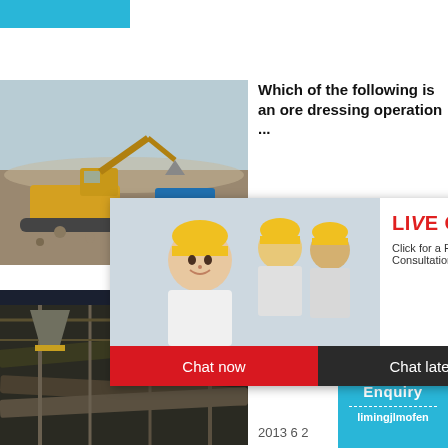[Figure (photo): Cyan/teal colored header bar at top left]
[Figure (photo): Excavator and mining equipment working at a construction/mining site]
Which of the following is an ore dressing operation ...
[Figure (screenshot): Live chat popup with workers in hard hats, LIVE CHAT label in red, 'Click for a Free Consultation', Chat now (red button) and Chat later (dark button)]
hour online
[Figure (photo): Industrial cone crusher / mining machine in white]
Click me to chat>>
Enquiry
limingjlmofen
[Figure (photo): Ore dressing / mineral processing conveyor belt facility]
Ore dre... definitio... dressin... ...
2013 6 2